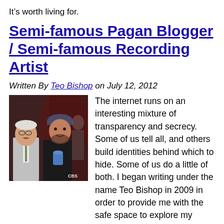It’s worth living for.
Semi-famous Pagan Blogger / Semi-famous Recording Artist
Written By Teo Bishop on July 12, 2012
[Figure (photo): Two men posing together, one older in a grey suit and one younger in a dark jacket wearing a beanie hat, holding something, on a stage or studio setting]
The internet runs on an interesting mixture of transparency and secrecy. Some of us tell all, and others build identities behind which to hide. Some of us do a little of both. I began writing under the name Teo Bishop in 2009 in order to provide me with the safe space to explore my evolving religious identity. My given name was wrapped up in other